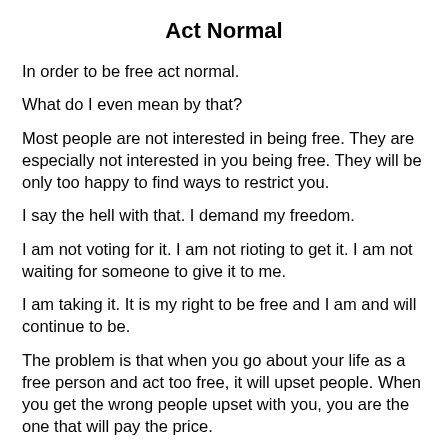Act Normal
In order to be free act normal.
What do I even mean by that?
Most people are not interested in being free. They are especially not interested in you being free. They will be only too happy to find ways to restrict you.
I say the hell with that. I demand my freedom.
I am not voting for it. I am not rioting to get it. I am not waiting for someone to give it to me.
I am taking it. It is my right to be free and I am and will continue to be.
The problem is that when you go about your life as a free person and act too free, it will upset people. When you get the wrong people upset with you, you are the one that will pay the price.
The whole world is set up to restrict your freedom, not give you any. You have to take it. You have to concentrate on it